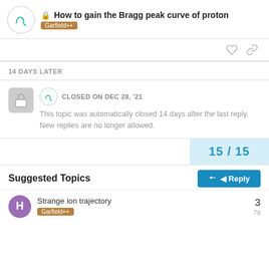How to gain the Bragg peak curve of proton
Garfield++
14 DAYS LATER
CLOSED ON DEC 28, '21
This topic was automatically closed 14 days after the last reply. New replies are no longer allowed.
15 / 15
Reply
Suggested Topics
Strange ion trajectory
Garfield++
3
7d